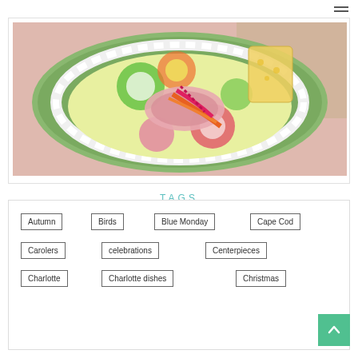[Figure (photo): A colorful floral plate/dish with a pink knitted or woven accessory tied with orange and pink ribbons, placed on a green woven placemat over a pink checkered background.]
TAGS
Autumn
Birds
Blue Monday
Cape Cod
Carolers
celebrations
Centerpieces
Charlotte
Charlotte dishes
Christmas